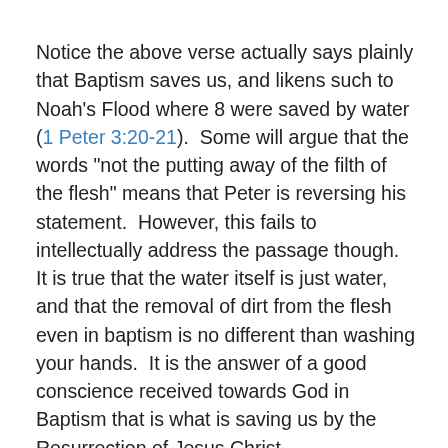Notice the above verse actually says plainly that Baptism saves us, and likens such to Noah’s Flood where 8 were saved by water (1 Peter 3:20-21).  Some will argue that the words “not the putting away of the filth of the flesh” means that Peter is reversing his statement.  However, this fails to intellectually address the passage though.  It is true that the water itself is just water, and that the removal of dirt from the flesh even in baptism is no different than washing your hands.  It is the answer of a good conscience received towards God in Baptism that is what is saving us by the Resurrection of Jesus Christ.
If Baptism is not saving us in this verse, the only referent